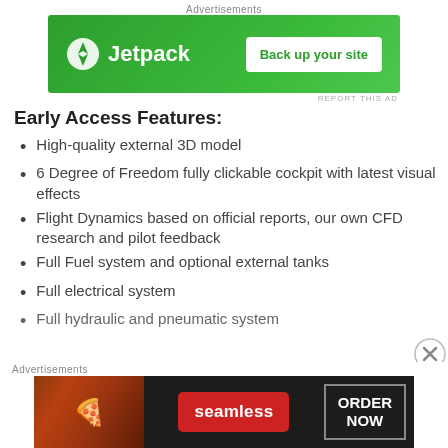[Figure (other): Jetpack advertisement banner: green background with Jetpack logo and 'Back up your site' button]
Early Access Features:
High-quality external 3D model
6 Degree of Freedom fully clickable cockpit with latest visual effects
Flight Dynamics based on official reports, our own CFD research and pilot feedback
Full Fuel system and optional external tanks
Full electrical system
Full hydraulic and pneumatic system
[Figure (other): Seamless food delivery advertisement banner with pizza image, Seamless logo and ORDER NOW button]